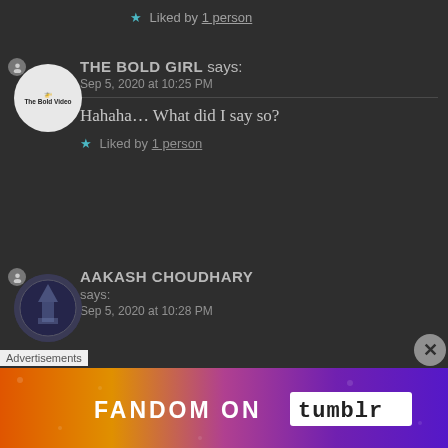★ Liked by 1 person
THE BOLD GIRL says: Sep 5, 2020 at 10:25 PM
Hahaha… What did I say so?
★ Liked by 1 person
AAKASH CHOUDHARY says: Sep 5, 2020 at 10:28 PM
[Figure (infographic): Fandom on Tumblr advertisement banner with colorful gradient background]
Advertisements